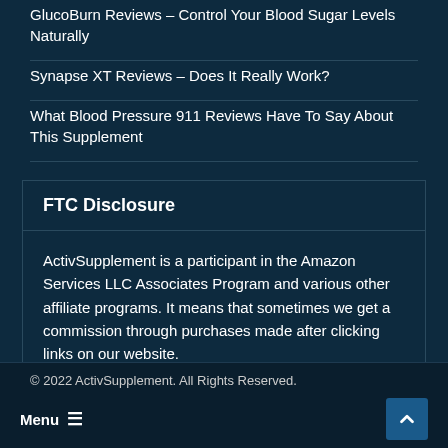GlucoBurn Reviews – Control Your Blood Sugar Levels Naturally
Synapse XT Reviews – Does It Really Work?
What Blood Pressure 911 Reviews Have To Say About This Supplement
FTC Disclosure
ActivSupplement is a participant in the Amazon Services LLC Associates Program and various other affiliate programs. It means that sometimes we get a commission through purchases made after clicking links on our website.
© 2022 ActivSupplement. All Rights Reserved.
Menu ≡